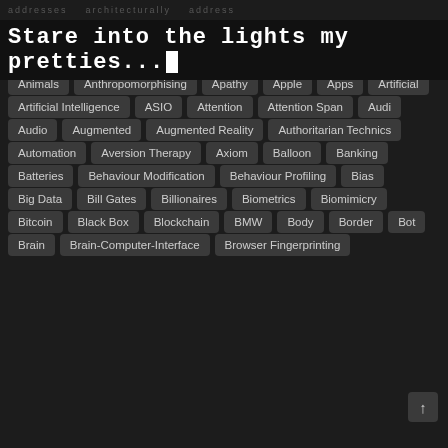Stare into the lights my pretties...
Animals
Anthropomorphising
Apathy
Apple
Apps
Artificial
Artificial Intelligence
ASIO
Attention
Attention Span
Audi
Audio
Augmented
Augmented Reality
Authoritarian Technics
Automation
Aversion Therapy
Axiom
Balloon
Banking
Batteries
Behaviour Modification
Behaviour Profiling
Bias
Big Data
Bill Gates
Billionaires
Biometrics
Biomimicry
Bitcoin
Black Box
Blockchain
BMW
Body
Border
Bot
Brain
Brain-Computer-Interface
Browser Fingerprinting